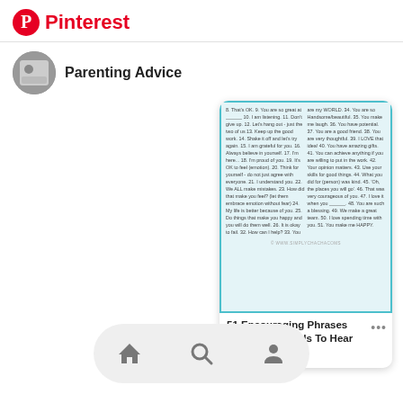Pinterest
Parenting Advice
[Figure (screenshot): Pinterest pin card showing a list titled '51 Encouraging Phrases Your Child Needs To Hear' with numbered phrases in two columns on a light blue background]
51 Encouraging Phrases Your Child Needs To Hear {PLUS...
[Figure (infographic): Bottom navigation bar with home, search, and profile icons]